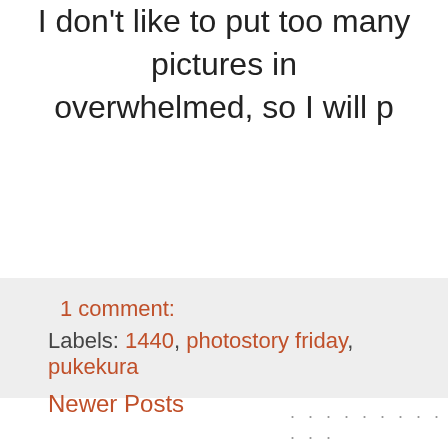I don't like to put too many pictures in... overwhelmed, so I will p...
1 comment:
Labels: 1440, photostory friday, pukekura
Newer Posts